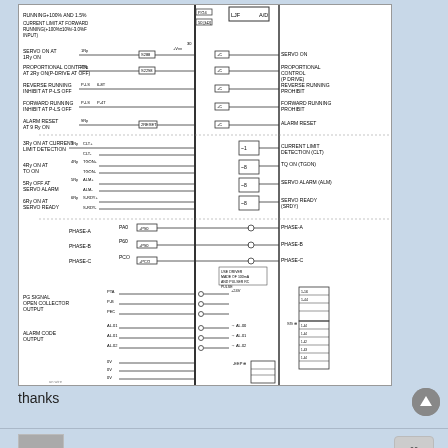[Figure (schematic): Servo drive wiring schematic/connection diagram showing servo ON signals, proportional control, reverse/forward running inhibit, alarm reset, current limit detection (CLT), TG ON (TGON), servo alarm (ALM), servo ready (SRDY), phase A/B/C connections, PG signal open collector output, alarm code output (AL.00, AL.01, AL.02), and EEP connections with relay outputs and terminal blocks.]
thanks
TomKerekes
Re: SETTING UP KFLOP, KANALOG FOR NEW CNC